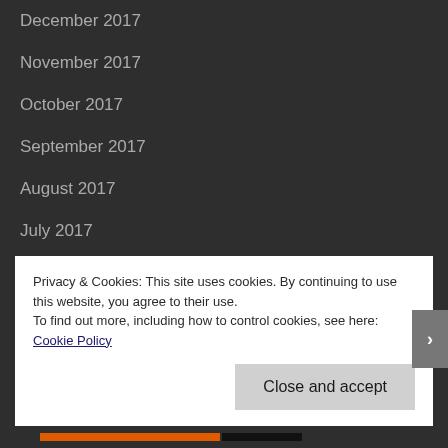December 2017
November 2017
October 2017
September 2017
August 2017
July 2017
June 2017
May 2017
April 2017
Privacy & Cookies: This site uses cookies. By continuing to use this website, you agree to their use.
To find out more, including how to control cookies, see here: Cookie Policy
Close and accept